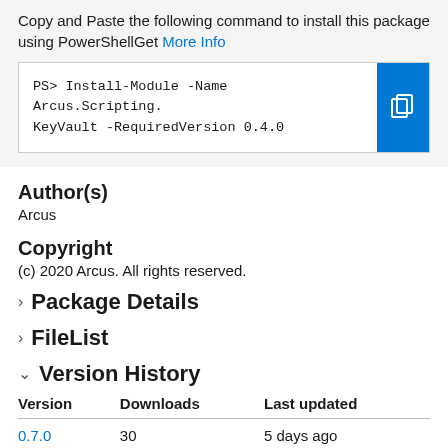Copy and Paste the following command to install this package using PowerShellGet More Info
PS> Install-Module -Name Arcus.Scripting.KeyVault -RequiredVersion 0.4.0
Author(s)
Arcus
Copyright
(c) 2020 Arcus. All rights reserved.
Package Details
FileList
Version History
| Version | Downloads | Last updated |
| --- | --- | --- |
| 0.7.0 | 30 | 5 days ago |
| 0.6.0 | 941 | 5 months ago |